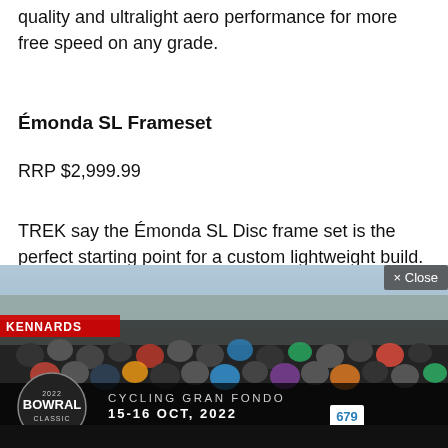quality and ultralight aero performance for more free speed on any grade.
Émonda SL Frameset
RRP $2,999.99
TREK say the Émonda SL Disc frame set is the perfect starting point for a custom lightweight build. Its aerodynamic frame is built with 500 Series OCLV Carbon and designed for disc brakes, which makes for a bike that's not only ultra-fast up climbs and on straightaways, but also one that brakes better in all
[Figure (photo): Crowd of cyclists at the start of Bowral Classic Cycling Gran Fondo event, 15-16 Oct, 2022, with KENNARDS banner and event logo visible]